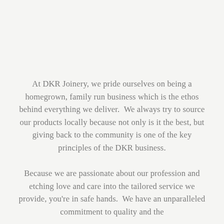At DKR Joinery, we pride ourselves on being a homegrown, family run business which is the ethos behind everything we deliver.  We always try to source our products locally because not only is it the best, but giving back to the community is one of the key principles of the DKR business.

Because we are passionate about our profession and etching love and care into the tailored service we provide, you're in safe hands.  We have an unparalleled commitment to quality and the